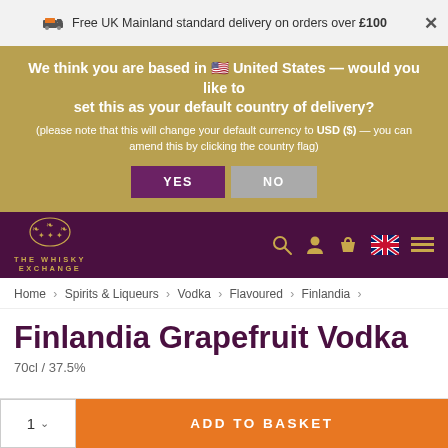Free UK Mainland standard delivery on orders over £100
We think you are based in 🇺🇸 United States — would you like to set this as your default country of delivery? (please note that this will change your default currency to USD ($) — you can amend this by clicking the country flag)
YES   NO
[Figure (logo): The Whisky Exchange logo with decorative crest and navigation icons including search, account, basket, UK flag, and hamburger menu]
Home › Spirits & Liqueurs › Vodka › Flavoured › Finlandia ›
Finlandia Grapefruit Vodka
70cl / 37.5%
1 ∨   ADD TO BASKET